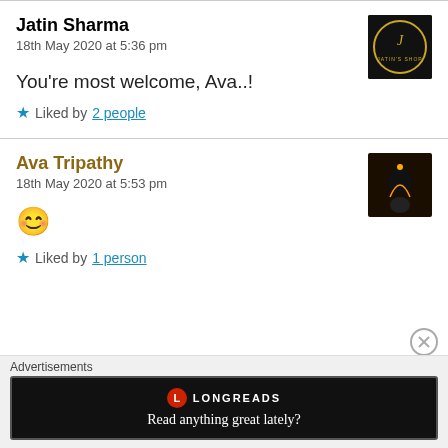Jatin Sharma
18th May 2020 at 5:36 pm
You're most welcome, Ava..!
Liked by 2 people
Ava Tripathy
18th May 2020 at 5:53 pm
😊
Liked by 1 person
Advertisements
LONGREADS Read anything great lately?